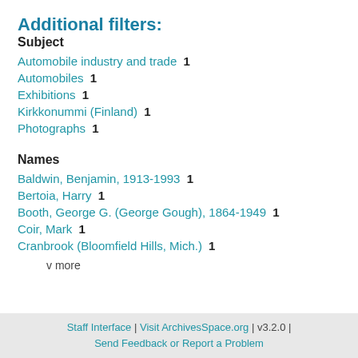Additional filters:
Subject
Automobile industry and trade  1
Automobiles  1
Exhibitions  1
Kirkkonummi (Finland)  1
Photographs  1
Names
Baldwin, Benjamin, 1913-1993  1
Bertoia, Harry  1
Booth, George G. (George Gough), 1864-1949  1
Coir, Mark  1
Cranbrook (Bloomfield Hills, Mich.)  1
v more
Staff Interface | Visit ArchivesSpace.org | v3.2.0 | Send Feedback or Report a Problem